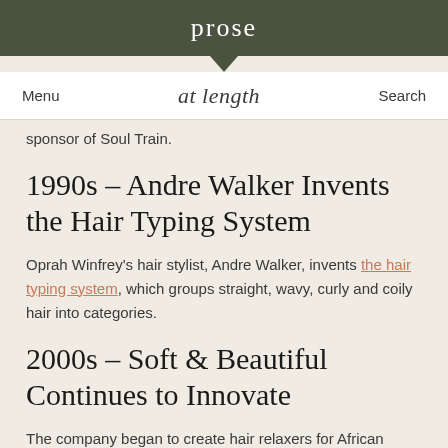prose
Menu  at length  Search
sponsor of Soul Train.
1990s – Andre Walker Invents the Hair Typing System
Oprah Winfrey's hair stylist, Andre Walker, invents the hair typing system, which groups straight, wavy, curly and coily hair into categories.
2000s – Soft & Beautiful Continues to Innovate
The company began to create hair relaxers for African Americans.